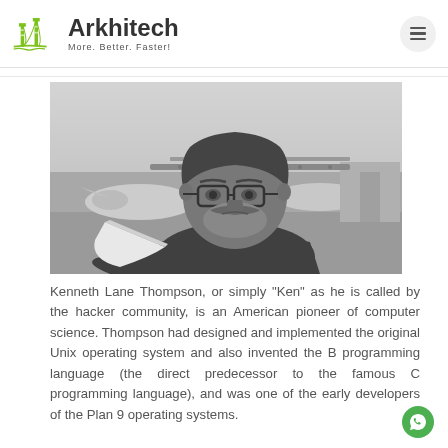Arkhitech — More. Better. Faster!
[Figure (photo): Black and white photograph of Kenneth Lane Thompson, a man with beard and glasses, outdoors near aircraft]
Kenneth Lane Thompson, or simply "Ken" as he is called by the hacker community, is an American pioneer of computer science. Thompson had designed and implemented the original Unix operating system and also invented the B programming language (the direct predecessor to the famous C programming language), and was one of the early developers of the Plan 9 operating systems.